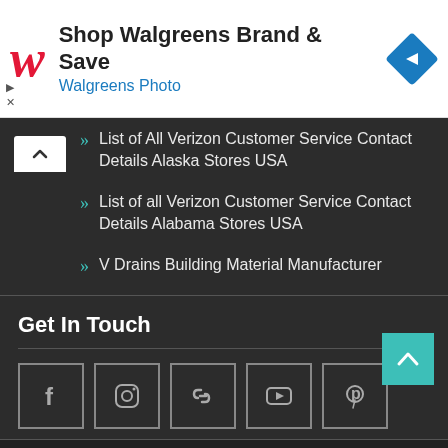[Figure (infographic): Walgreens advertisement banner with red italic W logo, 'Shop Walgreens Brand & Save' headline, 'Walgreens Photo' subtitle in blue, and a blue diamond navigation icon on the right]
List of All Verizon Customer Service Contact Details Alaska Stores USA
List of all Verizon Customer Service Contact Details Alabama Stores USA
V Drains Building Material Manufacturer
Get In Touch
[Figure (infographic): Five social media icon boxes in a row: Facebook (f), Instagram (camera), chain link, YouTube (play), Pinterest (p)]
Copyright © 2021 Helpmecenter.com
Business Era by ProDesigns